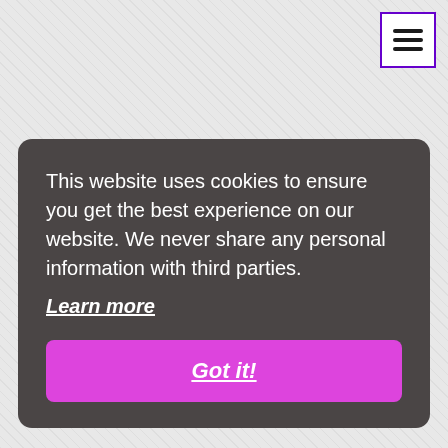[Figure (screenshot): Menu hamburger icon button with purple border in top-right corner]
This website uses cookies to ensure you get the best experience on our website. We never share any personal information with third parties.
Learn more
Got it!